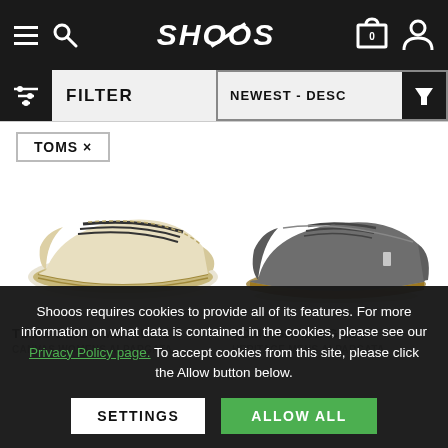SHOOOS
FILTER   NEWEST - DESC
TOMS ×
[Figure (photo): TOMS beige metallic canvas slip-on shoe with rope sole, side view on white background]
[Figure (photo): TOMS shade grey heritage slip-on shoe with brown gum sole, side view on white background]
TOMS BEIGE METALLIC
CANVAS WOMENS ALPARGATA
TOMS SHADE GREY
HERITAGE MENS ALPARGATA
Shooos requires cookies to provide all of its features. For more information on what data is contained in the cookies, please see our Privacy Policy page. To accept cookies from this site, please click the Allow button below.